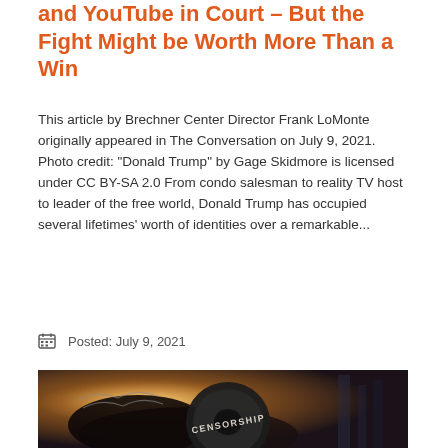and YouTube in Court – But the Fight Might be Worth More Than a Win
This article by Brechner Center Director Frank LoMonte originally appeared in The Conversation on July 9, 2021. Photo credit: “Donald Trump” by Gage Skidmore is licensed under CC BY-SA 2.0 From condo salesman to reality TV host to leader of the free world, Donald Trump has occupied several lifetimes’ worth of identities over a remarkable...
READ MORE ›
Posted: July 9, 2021
[Figure (photo): Photo of a black plate weight or dumbbell with the word CENSORSHIP stamped on it, with warm backlit golden light in the background suggesting an urban environment.]